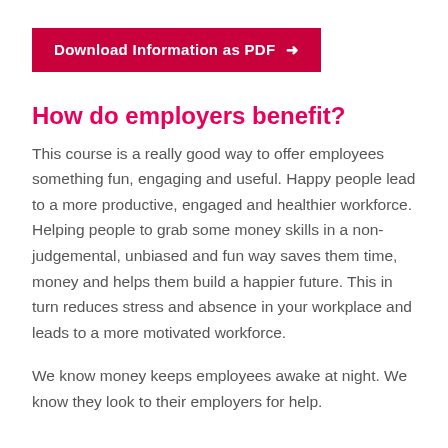[Figure (other): Red/crimson button with white bold text reading 'Download Information as PDF →']
How do employers benefit?
This course is a really good way to offer employees something fun, engaging and useful. Happy people lead to a more productive, engaged and healthier workforce. Helping people to grab some money skills in a non-judgemental, unbiased and fun way saves them time, money and helps them build a happier future. This in turn reduces stress and absence in your workplace and leads to a more motivated workforce.
We know money keeps employees awake at night. We know they look to their employers for help.